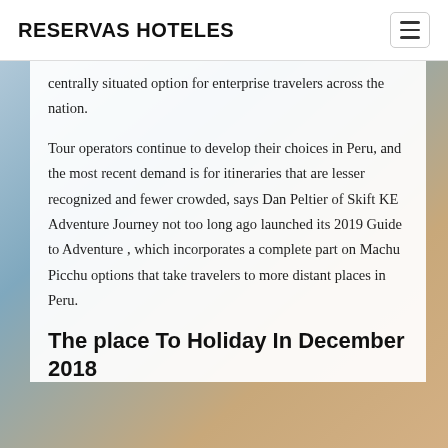RESERVAS HOTELES
centrally situated option for enterprise travelers across the nation.
Tour operators continue to develop their choices in Peru, and the most recent demand is for itineraries that are lesser recognized and fewer crowded, says Dan Peltier of Skift KE Adventure Journey not too long ago launched its 2019 Guide to Adventure , which incorporates a complete part on Machu Picchu options that take travelers to more distant places in Peru.
The place To Holiday In December 2018